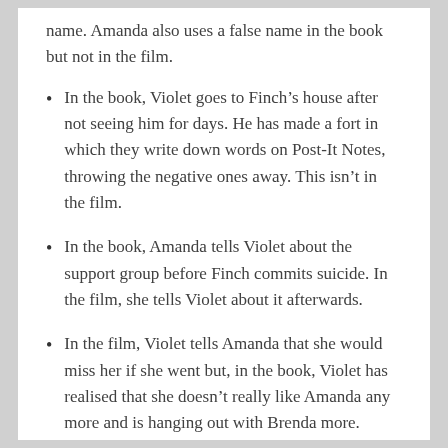name. Amanda also uses a false name in the book but not in the film.
In the book, Violet goes to Finch’s house after not seeing him for days. He has made a fort in which they write down words on Post-It Notes, throwing the negative ones away. This isn’t in the film.
In the book, Amanda tells Violet about the support group before Finch commits suicide. In the film, she tells Violet about it afterwards.
In the film, Violet tells Amanda that she would miss her if she went but, in the book, Violet has realised that she doesn’t really like Amanda any more and is hanging out with Brenda more.
In the book, Violet goes to Finch’s house for his